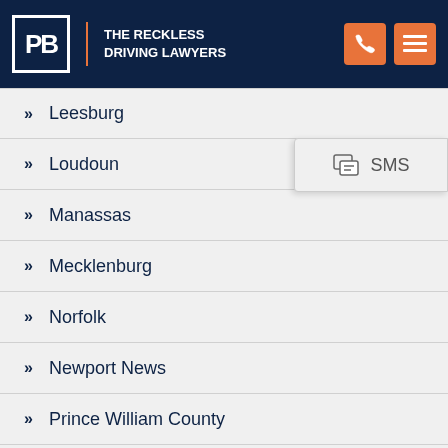The Reckless Driving Lawyers
Leesburg
Loudoun
Manassas
Mecklenburg
Norfolk
Newport News
Prince William County
Quantico
Richmond